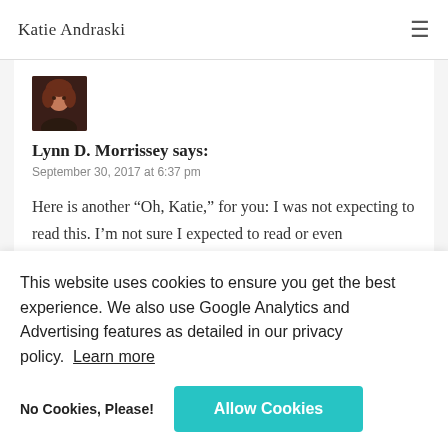Katie Andraski
[Figure (photo): Small avatar photo of a woman with reddish-brown hair against a dark background]
Lynn D. Morrissey says:
September 30, 2017 at 6:37 pm
Here is another “Oh, Katie,” for you: I was not expecting to read this. I’m not sure I expected to read or even
This website uses cookies to ensure you get the best experience. We also use Google Analytics and Advertising features as detailed in our privacy policy. Learn more
No Cookies, Please!
Allow Cookies